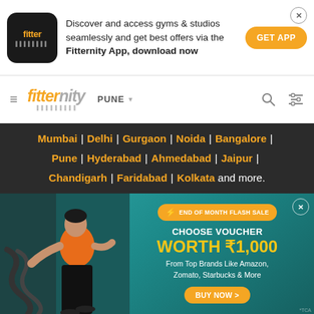[Figure (screenshot): Fitter app logo - black rounded square with orange 'fitter' text]
Discover and access gyms & studios seamlessly and get best offers via the Fitternity App, download now
GET APP
[Figure (logo): Fitternity logo in orange italic text with grey dots below]
PUNE ▾
Mumbai | Delhi | Gurgaon | Noida | Bangalore | Pune | Hyderabad | Ahmedabad | Jaipur | Chandigarh | Faridabad | Kolkata and more.
[Figure (photo): Promotional banner with man doing battle ropes exercise, teal background. Flash sale badge: END OF MONTH FLASH SALE. Text: CHOOSE VOUCHER WORTH ₹1,000 From Top Brands Like Amazon, Zomato, Starbucks & More. BUY NOW button.]